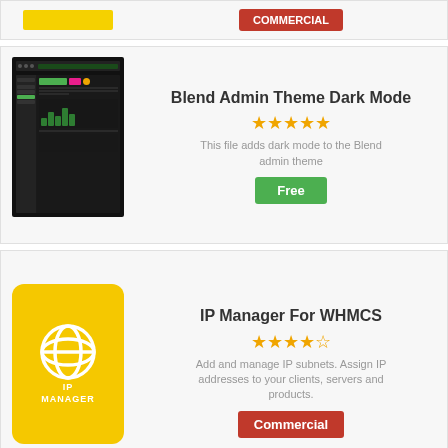[Figure (screenshot): Partial card top with Commercial button (cropped)]
Blend Admin Theme Dark Mode
[Figure (screenshot): Dark mode admin theme screenshot]
This file adds dark mode to the Blend admin theme
Free
IP Manager For WHMCS
[Figure (logo): IP Manager yellow logo with globe icon and ModulesGarden badge]
Add and manage IP subnets. Assign IP addresses to your clients, servers and products.
Commercial
eNom Domain Pricing Manager
[Figure (logo): eNom blue .com logo]